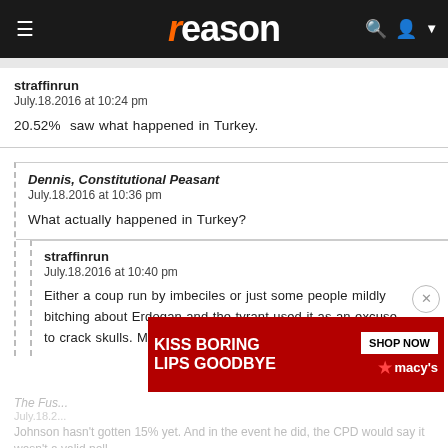reason
straffinrun
July.18.2016 at 10:24 pm

20.52%  saw what happened in Turkey.
Dennis, Constitutional Peasant
July.18.2016 at 10:36 pm

What actually happened in Turkey?
straffinrun
July.18.2016 at 10:40 pm

Either a coup run by imbeciles or just some people mildly bitching about Erdogan and the tyrant used it as an excuse to crack skulls. My guess anyways.
[Figure (screenshot): Macy's advertisement banner: 'KISS BORING LIPS GOODBYE' with SHOP NOW button and Macy's logo with star]
The Fus...
July.18.2...

Johnson hasn't gotten 15% yet. And in the event he did, the CPD would say it wasn't a valid poll...